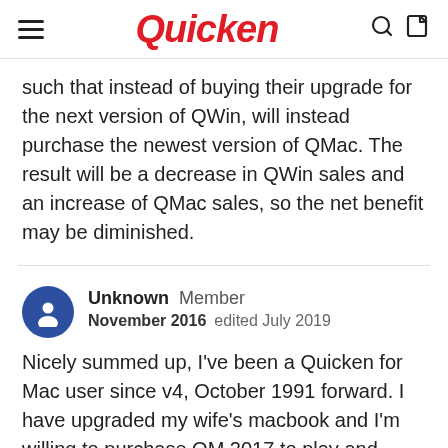Quicken
such that instead of buying their upgrade for the next version of QWin, will instead purchase the newest version of QMac. The result will be a decrease in QWin sales and an increase of QMac sales, so the net benefit may be diminished.
Unknown  Member
November 2016  edited July 2019
Nicely summed up, I've been a Quicken for Mac user since v4, October 1991 forward. I have upgraded my wife's macbook and I'm willing to purchase QM 2017 to play and encourage future development but can not migrate until reporting is functional for our needs.